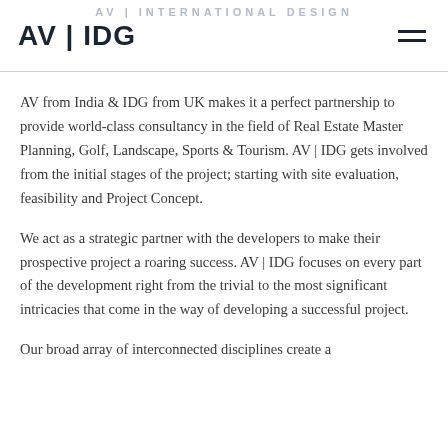AV | IDG
AV from India & IDG from UK makes it a perfect partnership to provide world-class consultancy in the field of Real Estate Master Planning, Golf, Landscape, Sports & Tourism. AV | IDG gets involved from the initial stages of the project; starting with site evaluation, feasibility and Project Concept.
We act as a strategic partner with the developers to make their prospective project a roaring success. AV | IDG focuses on every part of the development right from the trivial to the most significant intricacies that come in the way of developing a successful project.
Our broad array of interconnected disciplines create a